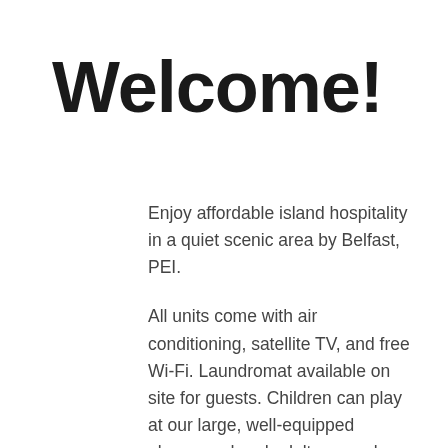Welcome!
Enjoy affordable island hospitality in a quiet scenic area by Belfast, PEI.
All units come with air conditioning, satellite TV, and free Wi-Fi. Laundromat available on site for guests. Children can play at our large, well-equipped playground and adults can relax by the fire pit.
Located just minutes away from swimming, clam digging, licensed restaurants, pool, Point Prim Chowder House, Oyster Bar, Belfast Highland Green Golf Course, park, and mini-putt. 20 minutes